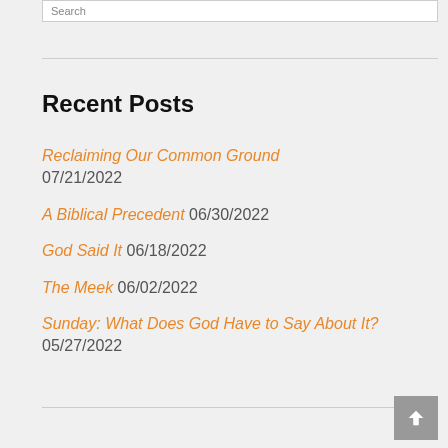Search
Recent Posts
Reclaiming Our Common Ground 07/21/2022
A Biblical Precedent 06/30/2022
God Said It 06/18/2022
The Meek 06/02/2022
Sunday: What Does God Have to Say About It? 05/27/2022